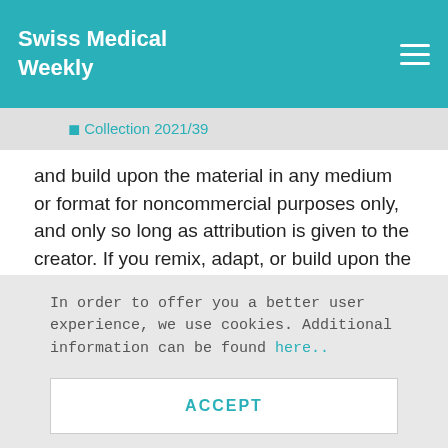Swiss Medical Weekly
⬛ Collection 2021/39
and build upon the material in any medium or format for noncommercial purposes only, and only so long as attribution is given to the creator. If you remix, adapt, or build upon the material, you must license the modified material under identical terms. See: smw.ch/permissions
In order to offer you a better user experience, we use cookies. Additional information can be found here..
ACCEPT